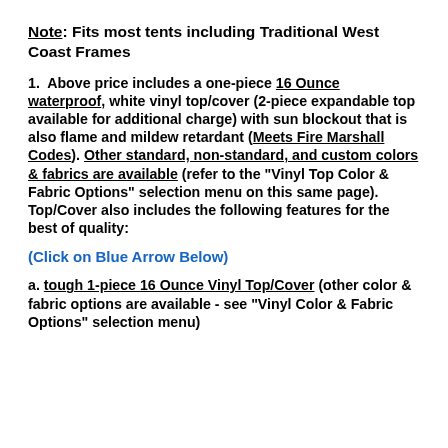Note: Fits most tents including Traditional West Coast Frames
1.  Above price includes a one-piece 16 Ounce waterproof, white vinyl top/cover (2-piece expandable top available for additional charge) with sun blockout that is also flame and mildew retardant (Meets Fire Marshall Codes). Other standard, non-standard, and custom colors & fabrics are available (refer to the "Vinyl Top Color & Fabric Options" selection menu on this same page). Top/Cover also includes the following features for the best of quality:
(Click on Blue Arrow Below)
a. tough 1-piece 16 Ounce Vinyl Top/Cover (other color & fabric options are available - see "Vinyl Color & Fabric Options" selection menu)